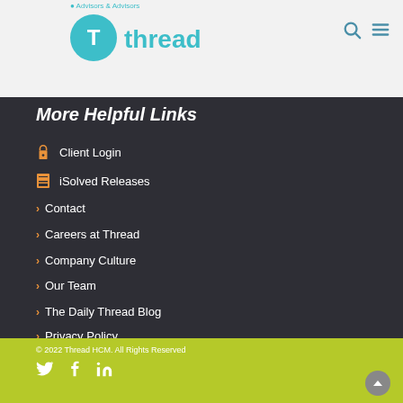thread
More Helpful Links
Client Login
iSolved Releases
Contact
Careers at Thread
Company Culture
Our Team
The Daily Thread Blog
Privacy Policy
© 2022 Thread HCM. All Rights Reserved